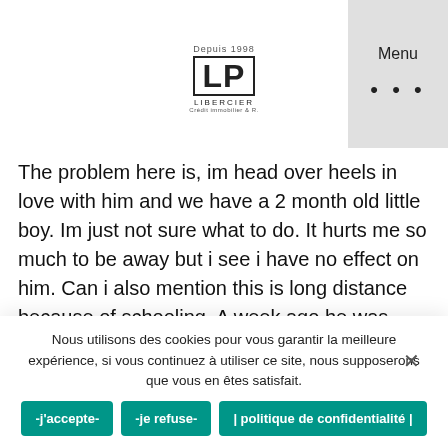Libercier logo and Menu button
The problem here is, im head over heels in love with him and we have a 2 month old little boy. Im just not sure what to do. It hurts me so much to be away but i see i have no effect on him. Can i also mention this is long distance because of schooling. A week ago he was saying he would never love anyone else and from day to night he went from saying i was everything to being an “i dont love you anymore.” And he didnt want to work it out for our sake either. I just dont know what to do. Should i ask for him back for the sake of our child and my feelings or should i let him wild it up in the single life he seems so happy with
Nous utilisons des cookies pour vous garantir la meilleure expérience, si vous continuez à utiliser ce site, nous supposerons que vous en êtes satisfait.
-j'accepte-
-je refuse-
| politique de confidentialité |